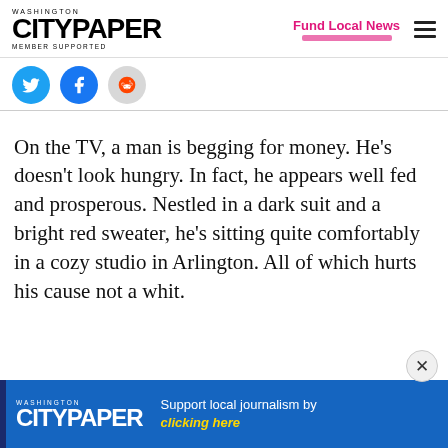WASHINGTON CITYPAPER MEMBER SUPPORTED | Fund Local News
[Figure (illustration): Social sharing buttons: Twitter (blue circle), Facebook (blue circle), Reddit (grey circle)]
On the TV, a man is begging for money. He’s doesn’t look hungry. In fact, he appears well fed and prosperous. Nestled in a dark suit and a bright red sweater, he’s sitting quite comfortably in a cozy studio in Arlington. All of which hurts his cause not a whit.
[Figure (logo): Washington City Paper advertisement banner: CITYPAPER logo in white on blue background with text 'Support local journalism by clicking here' in yellow]